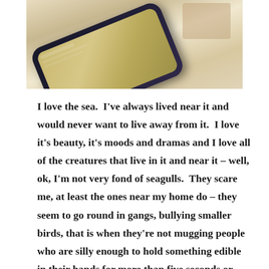[Figure (photo): A photo of a smartphone with a wooden/bamboo case, partially visible at an angle against a light background. Only the bottom portion of the phone is visible.]
I love the sea.  I've always lived near it and would never want to live away from it.  I love it's beauty, it's moods and dramas and I love all of the creatures that live in it and near it – well, ok, I'm not very fond of seagulls.  They scare me, at least the ones near my home do – they seem to go round in gangs, bullying smaller birds, that is when they're not mugging people who are silly enough to hold something edible in their hands for more than five seconds or playing chicken with cars waiting to park at the shops close to the sea. There's a particularly malevolent one who is always hanging around in the parking bays by the side door of